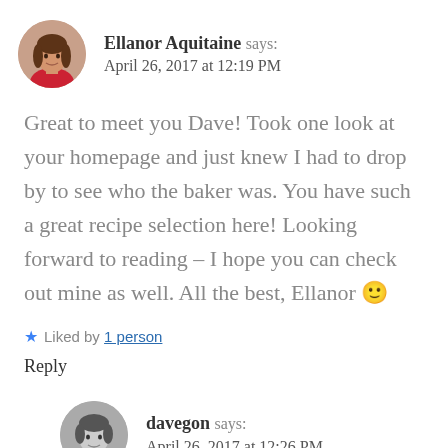Ellanor Aquitaine says:
April 26, 2017 at 12:19 PM
Great to meet you Dave! Took one look at your homepage and just knew I had to drop by to see who the baker was. You have such a great recipe selection here! Looking forward to reading – I hope you can check out mine as well. All the best, Ellanor 🙂
★ Liked by 1 person
Reply
davegon says:
April 26, 2017 at 12:26 PM